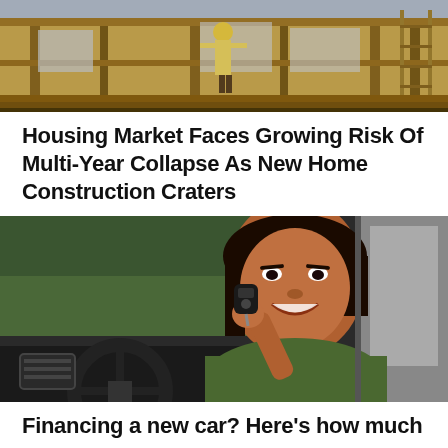[Figure (photo): Construction site showing a home being framed with wooden structural beams, a worker in yellow vest visible in the background doorway]
Housing Market Faces Growing Risk Of Multi-Year Collapse As New Home Construction Craters
[Figure (photo): A smiling young Black woman sitting in the driver's seat of a car, leaning out the window and holding up a car key fob]
Financing a new car? Here’s how much you can save